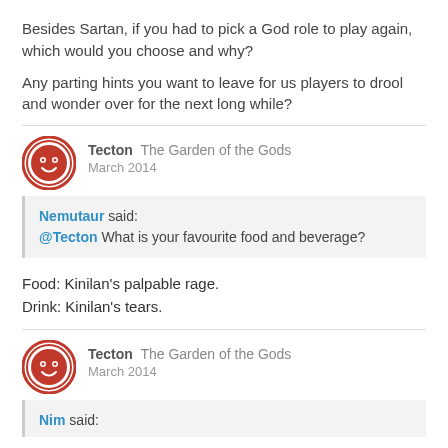Besides Sartan, if you had to pick a God role to play again, which would you choose and why?
Any parting hints you want to leave for us players to drool and wonder over for the next long while?
Tecton  The Garden of the Gods
March 2014
Nemutaur said:
@Tecton What is your favourite food and beverage?
Food: Kinilan's palpable rage.
Drink: Kinilan's tears.
Tecton  The Garden of the Gods
March 2014
Nim said: